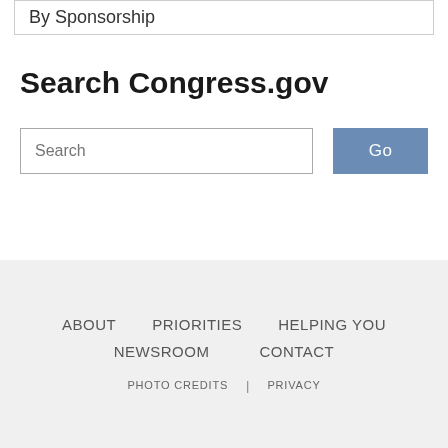By Sponsorship
Search Congress.gov
Search [input field] Go
ABOUT   PRIORITIES   HELPING YOU   NEWSROOM   CONTACT   PHOTO CREDITS | PRIVACY